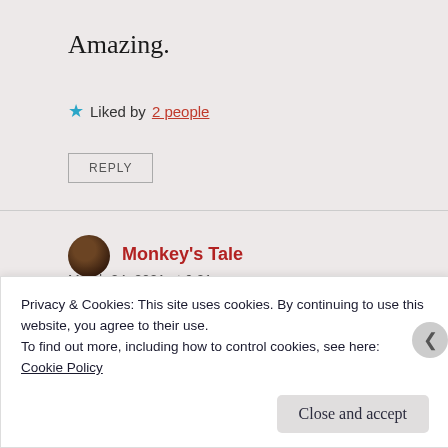Amazing.
★ Liked by 2 people
REPLY
Monkey's Tale
March 24, 2021 at 6:21 pm
What a beautiful story of the forest.
Privacy & Cookies: This site uses cookies. By continuing to use this website, you agree to their use.
To find out more, including how to control cookies, see here: Cookie Policy
Close and accept